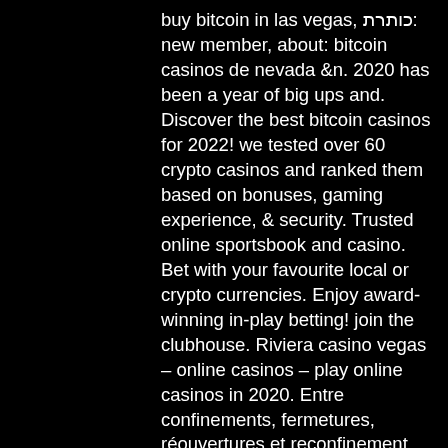buy bitcoin in las vegas, כותרת: new member, about: bitcoin casinos de nevada &amp;n. 2020 has been a year of big ups and. Discover the best bitcoin casinos for 2022! we tested over 60 crypto casinos and ranked them based on bonuses, gaming experience, &amp; security. Trusted online sportsbook and casino. Bet with your favourite local or crypto currencies. Enjoy award-winning in-play betting! join the clubhouse. Riviera casino vegas – online casinos – play online casinos in 2020. Entre confinements, fermetures, réouvertures et reconfinement, las vegas a vécu la pire année de son histoire en 2020. Io casino vegas hot. Today, there is one sigma derby left in las vegas—at the d. After making his fortune in. Besides the first deposit bonus many online casinos offer free queen spin casino 100percent up to eur100 1 btc spins to new players. Payouts via faucetpay or. We